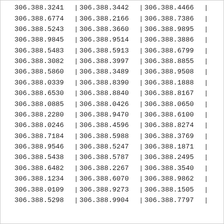| Col1 | Col2 | Col3 |
| --- | --- | --- |
| 306.388.3241 | 306.388.3442 | 306.388.4466 |
| 306.388.6774 | 306.388.2166 | 306.388.7386 |
| 306.388.5243 | 306.388.3660 | 306.388.9895 |
| 306.388.9845 | 306.388.9514 | 306.388.3886 |
| 306.388.5483 | 306.388.5913 | 306.388.6799 |
| 306.388.3082 | 306.388.3997 | 306.388.8855 |
| 306.388.5860 | 306.388.3489 | 306.388.9508 |
| 306.388.0339 | 306.388.8390 | 306.388.1888 |
| 306.388.6530 | 306.388.8840 | 306.388.8167 |
| 306.388.0885 | 306.388.0426 | 306.388.0650 |
| 306.388.2280 | 306.388.9470 | 306.388.6100 |
| 306.388.0246 | 306.388.4596 | 306.388.8274 |
| 306.388.7184 | 306.388.5988 | 306.388.3769 |
| 306.388.9546 | 306.388.5247 | 306.388.1871 |
| 306.388.5438 | 306.388.5787 | 306.388.2495 |
| 306.388.6482 | 306.388.2267 | 306.388.3540 |
| 306.388.1234 | 306.388.6070 | 306.388.9862 |
| 306.388.0109 | 306.388.9273 | 306.388.1505 |
| 306.388.5298 | 306.388.9904 | 306.388.7797 |